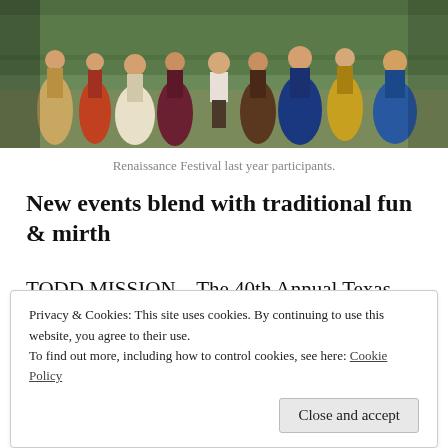[Figure (photo): Group of people in Renaissance festival costumes dancing outdoors on grass, wearing colorful period clothing including dresses and doublets.]
Renaissance Festival last year participants.
New events blend with traditional fun & mirth
TODD MISSION – The 40th Annual Texas
Privacy & Cookies: This site uses cookies. By continuing to use this website, you agree to their use.
To find out more, including how to control cookies, see here: Cookie Policy
Close and accept